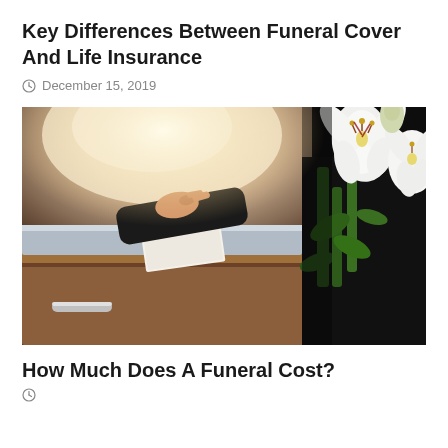Key Differences Between Funeral Cover And Life Insurance
December 15, 2019
[Figure (photo): A person dressed in black holding white lily flowers, placing a hand on a wooden casket at a funeral service. Soft warm light in the background.]
How Much Does A Funeral Cost?